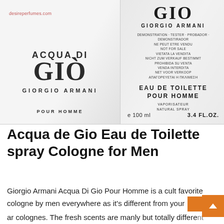[Figure (photo): Two Giorgio Armani Acqua di Giò pour homme cologne bottles/boxes. Left shows front label with 'ACQUA DI GIÒ GIORGIO ARMANI POUR HOMME'. Right shows back label with 'GIO GIORGIO ARMANI', multi-language tester warning text, 'EAU DE TOILETTE POUR HOMME VAPORISATEUR NATURAL SPRAY', 'e 100 ml', '3.4 FL.OZ.'. Website desireperfumes.com shown in red on left bottle.]
Acqua de Gio Eau de Toilette spray Cologne for Men
Giorgio Armani Acqua Di Gio Pour Homme is a cult favorite cologne by men everywhere as it's different from your regular colognes. The fresh scents are manly but totally different